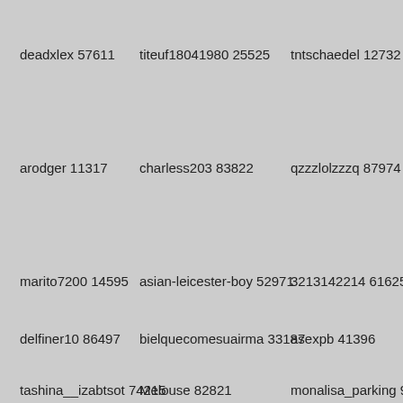deadxlex 57611
titeuf18041980 25525
tntschaedel 12732
arodger 11317
charless203 83822
qzzzlolzzzq 87974
marito7200 14595
asian-leicester-boy 52971
3213142214 61625
delfiner10 86497
bielquecomesuairma 33187
asexpb 41396
tashina__izabtsot 74215
Melouse 82821
monalisa_parking 95...